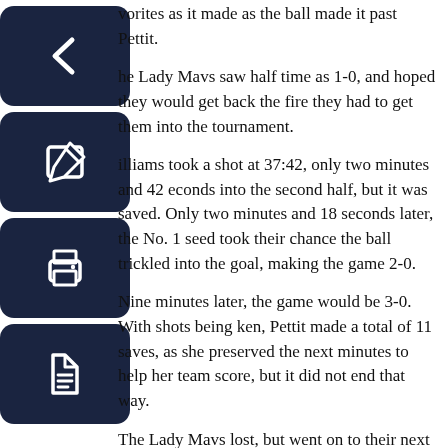vorites as it made as the ball made it past Pettit.
he Lady Mavs saw half time as 1-0, and hoped they would get back the fire they had to get them into the tournament.
illiams took a shot at 37:42, only two minutes and 42 econds into the second half, but it was saved. Only two minutes and 18 seconds later, the No. 1 seed took their chance the ball trickled into the goal, making the game 2-0.
Nine minutes later, the game would be 3-0. With shots being ken, Pettit made a total of 11 saves, as she preserved the next minutes to help her team score, but it did not end that way.
The Lady Mavs lost, but went on to their next game to see who placed third, as they faced off against No. 2 seed, Bellarmine.
Wasting no time, Bellarmine scored in the 5th minute of the game. Surpassing the challenge, Bellarmine scored twice more in at 14:44 and 28:52, leading the game with 3-0.
Nearly four minutes later, Soler received a pass from senior Jackie Ballin and fired the ball from the top of the circle into the cage to make it 3-1.
It was Soler's fourth goal of the season, while Ballin notched